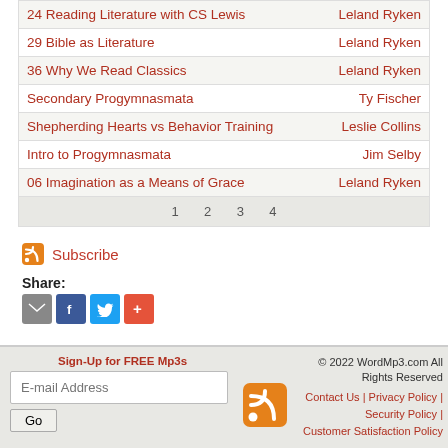| Title | Author |
| --- | --- |
| 24 Reading Literature with CS Lewis | Leland Ryken |
| 29 Bible as Literature | Leland Ryken |
| 36 Why We Read Classics | Leland Ryken |
| Secondary Progymnasmata | Ty Fischer |
| Shepherding Hearts vs Behavior Training | Leslie Collins |
| Intro to Progymnasmata | Jim Selby |
| 06 Imagination as a Means of Grace | Leland Ryken |
| 1  2  3  4 |  |
Subscribe
Share:
Sign-Up for FREE Mp3s
© 2022 WordMp3.com All Rights Reserved
Contact Us | Privacy Policy | Security Policy | Customer Satisfaction Policy